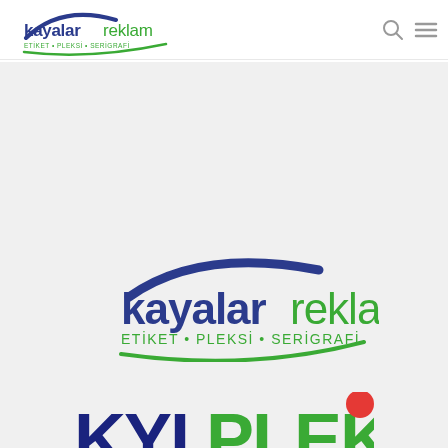[Figure (logo): Kayalar Reklam logo in header navigation bar - blue/green arc with 'kayalar' in dark blue bold, 'reklam' in green, and 'ETİKET · PLEKSİ · SERİGRAFİ' subtitle]
[Figure (logo): Large Kayalar Reklam center logo on grey background - blue arc above, 'kayalar' in dark blue bold, 'reklam' in green, 'ETİKET · PLEKSİ · SERİGRAFİ' in green below with green arc]
[Figure (logo): KYL PLEKSİ logo - 'KYL' in dark blue bold, 'PLEKSİ' in green bold, with a red balloon/circle and green curved line, partially visible at bottom]